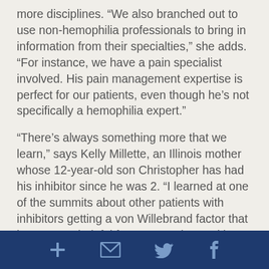more disciplines. “We also branched out to use non-hemophilia professionals to bring in information from their specialties,” she adds. “For instance, we have a pain specialist involved. His pain management expertise is perfect for our patients, even though he’s not specifically a hemophilia expert.”
“There’s always something more that we learn,” says Kelly Millette, an Illinois mother whose 12-year-old son Christopher has had his inhibitor since he was 2. “I learned at one of the summits about other patients with inhibitors getting a von Willebrand factor that has proven helpful for some patients with inhibitors, and it’s made a difference for Christopher. We’ve learned different techniques for caring for joints and surgery options. And now that Christopher is older, he loves going. He likes being with other kids like him and knowing he can go to
[social share icons: plus, email, twitter, facebook]